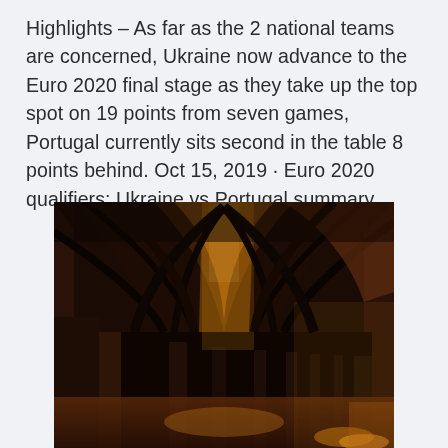Highlights – As far as the 2 national teams are concerned, Ukraine now advance to the Euro 2020 final stage as they take up the top spot on 19 points from seven games, Portugal currently sits second in the table 8 points behind. Oct 15, 2019 · Euro 2020 qualifiers: Ukraine vs Portugal summary.
[Figure (photo): Interior of a historic stone building with gothic arched ceilings and columns, illuminated by warm orange light streaming through windows, creating dramatic shadows and highlights on the stone architecture.]